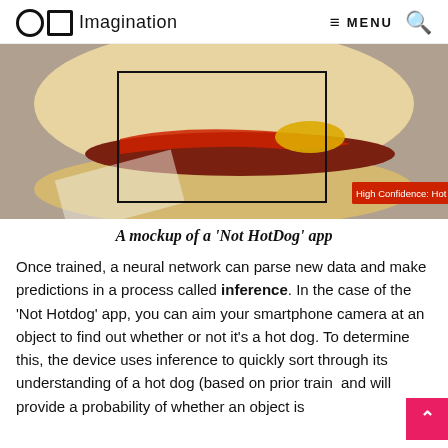Imagination — MENU [search]
[Figure (photo): A close-up photo of a hot dog with ketchup and mustard in a bun, shown with a bounding box overlay and a label reading 'High Confidence: Hot Dog' in the bottom right corner.]
A mockup of a 'Not HotDog' app
Once trained, a neural network can parse new data and make predictions in a process called inference. In the case of the 'Not Hotdog' app, you can aim your smartphone camera at an object to find out whether or not it's a hot dog. To determine this, the device uses inference to quickly sort through its understanding of a hot dog (based on prior train and will provide a probability of whether an object is